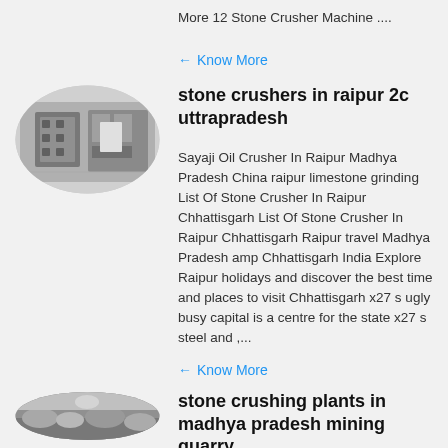More 12 Stone Crusher Machine ....
Know More
[Figure (photo): Oval-shaped thumbnail photo of stone crusher machine parts, metallic equipment]
stone crushers in raipur 2c uttrapradesh
Sayaji Oil Crusher In Raipur Madhya Pradesh China raipur limestone grinding List Of Stone Crusher In Raipur Chhattisgarh List Of Stone Crusher In Raipur Chhattisgarh Raipur travel Madhya Pradesh amp Chhattisgarh India Explore Raipur holidays and discover the best time and places to visit Chhattisgarh x27 s ugly busy capital is a centre for the state x27 s steel and ,...
Know More
[Figure (photo): Oval-shaped thumbnail photo of stone crushing plant, rocks and machinery]
stone crushing plants in madhya pradesh mining quarry ,
14-03-2013 0183 32 Stone Crushing Plant